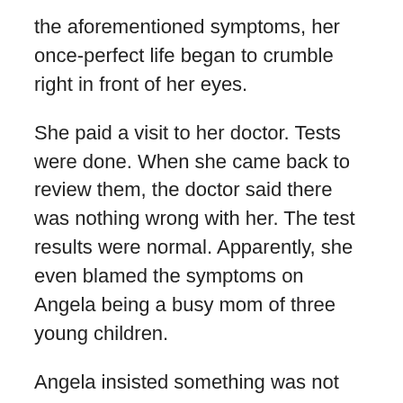the aforementioned symptoms, her once-perfect life began to crumble right in front of her eyes.
She paid a visit to her doctor. Tests were done. When she came back to review them, the doctor said there was nothing wrong with her. The test results were normal. Apparently, she even blamed the symptoms on Angela being a busy mom of three young children.
Angela insisted something was not right. Eventually, her doctor sent her to see an endocrinologist. He was of no help. He said she was depressed and had a sleep disorder
At this point, she decided to find her own solution. She knew that her hormones were the root cause of all her issues so she hit the books. She read all about hormones and how they impact women. Some of her findings are